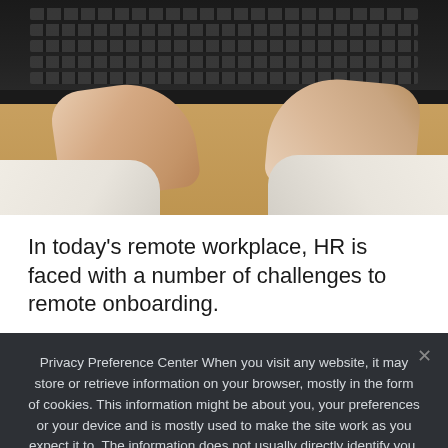[Figure (photo): Person's hands typing on a black laptop keyboard viewed from above, on a wooden desk surface]
In today’s remote workplace, HR is faced with a number of challenges to remote onboarding.
Privacy Preference Center When you visit any website, it may store or retrieve information on your browser, mostly in the form of cookies. This information might be about you, your preferences or your device and is mostly used to make the site work as you expect it to. The information does not usually directly identify you, but it can give you a more personalized web experience. Because we respect your right to privacy, you can choose not to allow some types of cookies. Click on the different category headings to find out more and change our default settings. However, blocking some types of cookies may impact your experience of the site and the services we are able to offer.
Ok   Privacy policy